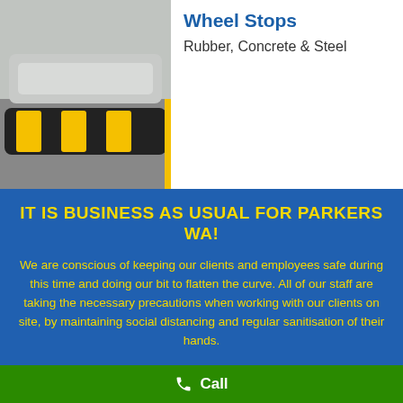[Figure (photo): Photo of a rubber wheel stop with yellow reflective markings, installed in a parking area with a car bumper visible above it]
Wheel Stops
Rubber, Concrete & Steel
IT IS BUSINESS AS USUAL FOR PARKERS WA!
We are conscious of keeping our clients and employees safe during this time and doing our bit to flatten the curve. All of our staff are taking the necessary precautions when working with our clients on site, by maintaining social distancing and regular sanitisation of their hands.
Call